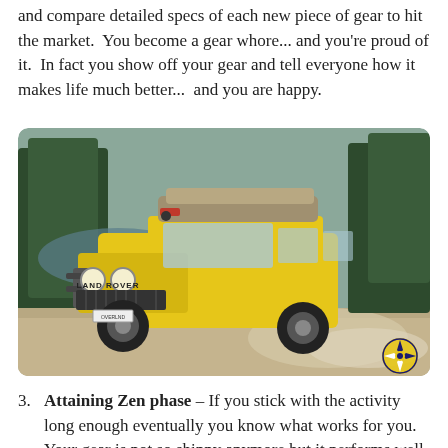and compare detailed specs of each new piece of gear to hit the market.  You become a gear whore... and you're proud of it.  In fact you show off your gear and tell everyone how it makes life much better...  and you are happy.
[Figure (photo): A yellow Land Rover SUV with a rooftop tent driving on a dusty dirt road near a lake surrounded by pine trees. The vehicle has off-road accessories including a bull bar and large tires. A compass rose logo watermark appears in the lower right corner.]
3. Attaining Zen phase – If you stick with the activity long enough eventually you know what works for you.  Your gear is not so shinny anymore but it performs well and meets